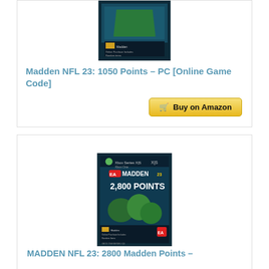[Figure (photo): Madden NFL 23 1050 Points PC Online Game Code product box art]
Madden NFL 23: 1050 Points – PC [Online Game Code]
[Figure (other): Buy on Amazon button]
[Figure (photo): Madden NFL 23 2800 Points Xbox Series XS game currency product box art]
MADDEN NFL 23: 2800 Madden Points –